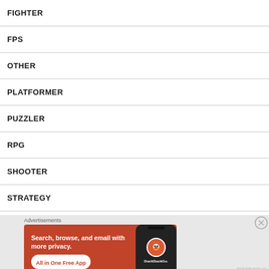FIGHTER
FPS
OTHER
PLATFORMER
PUZZLER
RPG
SHOOTER
STRATEGY
[Figure (screenshot): DuckDuckGo advertisement banner with orange background showing 'Search, browse, and email with more privacy. All in One Free App' with a phone mockup and DuckDuckGo logo]
Advertisements